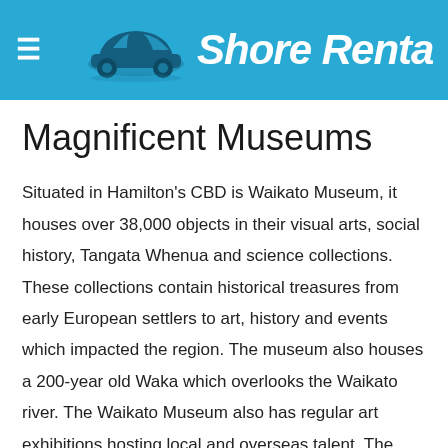Shore Renta
Magnificent Museums
Situated in Hamilton's CBD is Waikato Museum, it houses over 38,000 objects in their visual arts, social history, Tangata Whenua and science collections. These collections contain historical treasures from early European settlers to art, history and events which impacted the region. The museum also houses a 200-year old Waka which overlooks the Waikato river. The Waikato Museum also has regular art exhibitions hosting local and overseas talent. The region also has some smaller museums such as the Firth Tower museum in Matamata, Putaruru Timber museum and Waitomo Caves discovery centre.